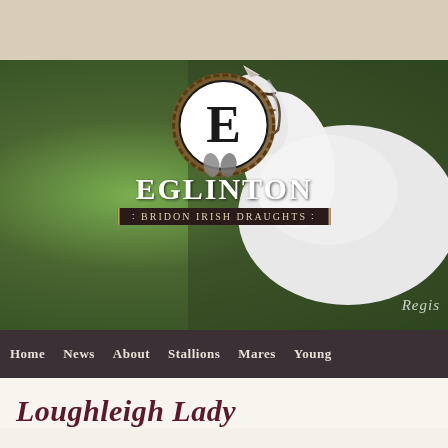[Figure (screenshot): Eglinton Bridon Irish Draughts website header with logo, white horse photo, and navigation bar]
Loughleigh Lady